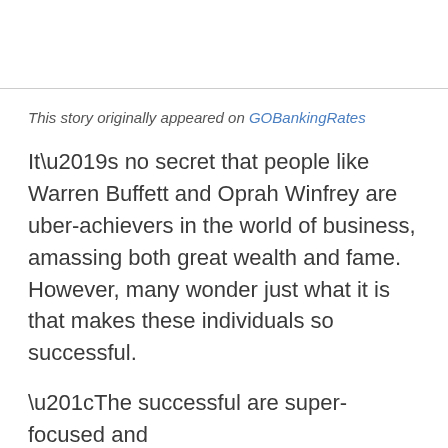This story originally appeared on GOBankingRates
It’s no secret that people like Warren Buffett and Oprah Winfrey are uber-achievers in the world of business, amassing both great wealth and fame. However, many wonder just what it is that makes these individuals so successful.
“The successful are super-focused and